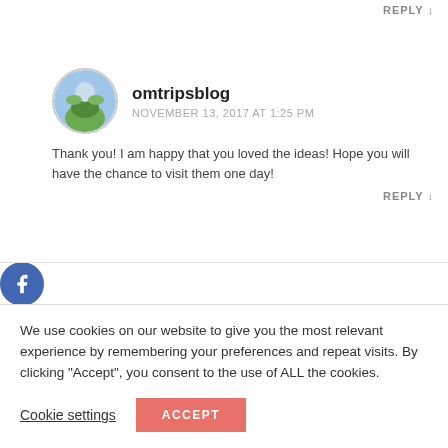REPLY ↓
[Figure (illustration): omtripsblog user avatar - circular photo with outdoor/nature scene]
omtripsblog
NOVEMBER 13, 2017 AT 1:25 PM
Thank you! I am happy that you loved the ideas! Hope you will have the chance to visit them one day!
REPLY ↓
[Figure (illustration): Social media sidebar icons: Facebook, Twitter, Google+, StumbleUpon]
[Figure (photo): rachaelstray user avatar - circular photo of a person]
rachaelstray
NOVEMBER 13, 2017 AT 1:37 PM
We use cookies on our website to give you the most relevant experience by remembering your preferences and repeat visits. By clicking "Accept", you consent to the use of ALL the cookies.
Cookie settings
ACCEPT